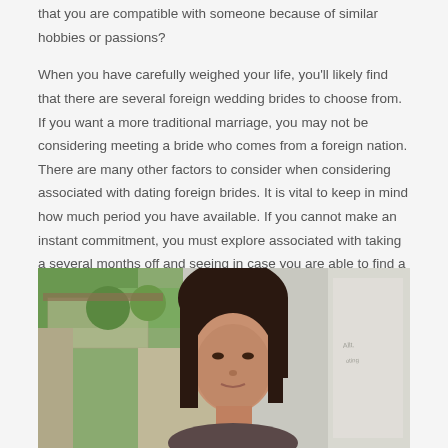that you are compatible with someone because of similar hobbies or passions?

When you have carefully weighed your life, you'll likely find that there are several foreign wedding brides to choose from. If you want a more traditional marriage, you may not be considering meeting a bride who comes from a foreign nation. There are many other factors to consider when considering associated with dating foreign brides. It is vital to keep in mind how much period you have available. If you cannot make an instant commitment, you must explore associated with taking a several months off and seeing in case you are able to find a suitable partner about whom to base a long relationship.
[Figure (photo): Photo of a young Asian woman with long dark hair, photographed outdoors with green foliage and architectural elements in the background.]